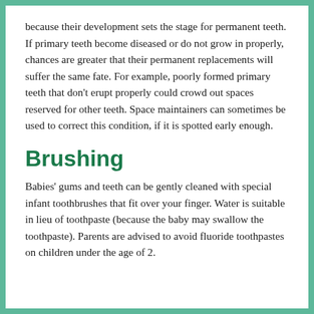because their development sets the stage for permanent teeth. If primary teeth become diseased or do not grow in properly, chances are greater that their permanent replacements will suffer the same fate. For example, poorly formed primary teeth that don't erupt properly could crowd out spaces reserved for other teeth. Space maintainers can sometimes be used to correct this condition, if it is spotted early enough.
Brushing
Babies' gums and teeth can be gently cleaned with special infant toothbrushes that fit over your finger. Water is suitable in lieu of toothpaste (because the baby may swallow the toothpaste). Parents are advised to avoid fluoride toothpastes on children under the age of 2.